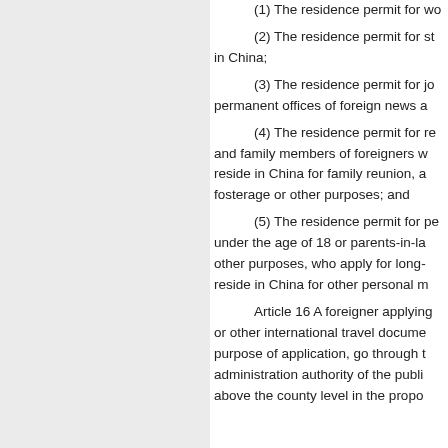(1) The residence permit for wo
(2) The residence permit for st in China;
(3) The residence permit for jo permanent offices of foreign news a
(4) The residence permit for re and family members of foreigners w reside in China for family reunion, a fosterage or other purposes; and
(5) The residence permit for pe under the age of 18 or parents-in-la other purposes, who apply for long- reside in China for other personal m
Article 16 A foreigner applying or other international travel docume purpose of application, go through t administration authority of the publi above the county level in the propo